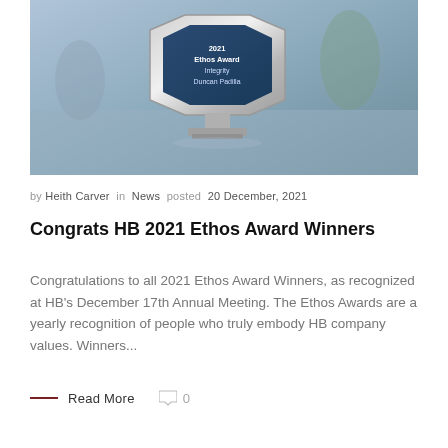[Figure (photo): A crystal/glass award trophy with a hexagonal shape, engraved with '2021 Ethos Award Integrity Duncan Padilla', displayed on a table outdoors.]
by Heith Carver in News posted 20 December, 2021
Congrats HB 2021 Ethos Award Winners
Congratulations to all 2021 Ethos Award Winners, as recognized at HB's December 17th Annual Meeting. The Ethos Awards are a yearly recognition of people who truly embody HB company values. Winners...
— Read More  0